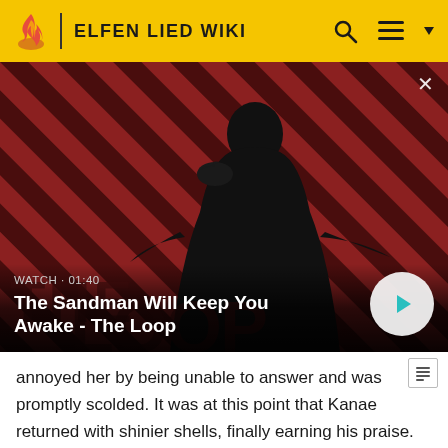ELFEN LIED WIKI
[Figure (screenshot): Video thumbnail showing a dark-cloaked figure with a raven on shoulder against a red and black diagonal striped background. Overlay shows 'WATCH · 01:40' and title 'The Sandman Will Keep You Awake - The Loop' with a circular play button.]
annoyed her by being unable to answer and was promptly scolded. It was at this point that Kanae returned with shinier shells, finally earning his praise. Later, Kouta realized he hadn't thought to ask the horned girl for her name, leaving it shrouded in mystery not just for him but